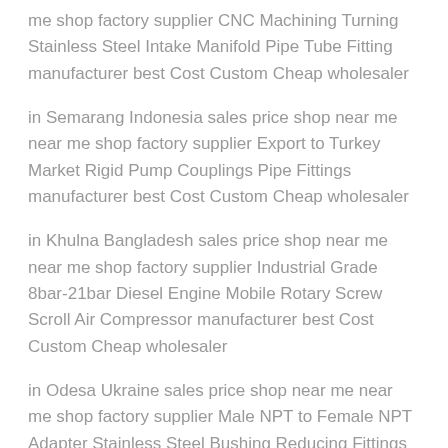me shop factory supplier CNC Machining Turning Stainless Steel Intake Manifold Pipe Tube Fitting manufacturer best Cost Custom Cheap wholesaler
in Semarang Indonesia sales price shop near me near me shop factory supplier Export to Turkey Market Rigid Pump Couplings Pipe Fittings manufacturer best Cost Custom Cheap wholesaler
in Khulna Bangladesh sales price shop near me near me shop factory supplier Industrial Grade 8bar-21bar Diesel Engine Mobile Rotary Screw Scroll Air Compressor manufacturer best Cost Custom Cheap wholesaler
in Odesa Ukraine sales price shop near me near me shop factory supplier Male NPT to Female NPT Adapter Stainless Steel Bushing Reducing Fittings manufacturer best Cost Custom Cheap wholesaler
in Bangalore India sales price shop near me near me shop factory supplier Machine Parts CNC OEM f...